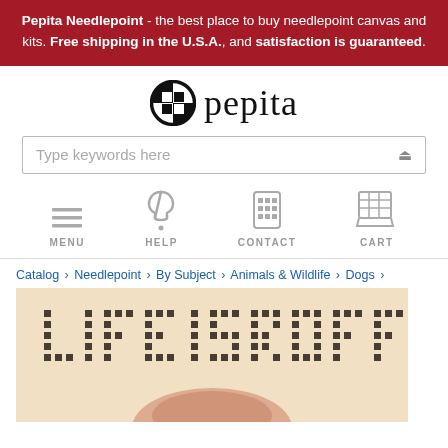Pepita Needlepoint - the best place to buy needlepoint canvas and kits. Free shipping in the U.S.A., and satisfaction is guaranteed.
[Figure (logo): Pepita Needlepoint logo: black and white checkerboard circle icon next to the word 'pepita' in lowercase serif font]
Type keywords here
[Figure (infographic): Four navigation icons: MENU (hamburger lines), HELP (question mark), CONTACT (phone/keypad), CART (shopping cart)]
Catalog › Needlepoint › By Subject › Animals & Wildlife › Dogs ›
[Figure (photo): Needlepoint canvas showing 'LIFE IS RUFF' text in pixel/dot style on a light beige background with a dog snout visible below]